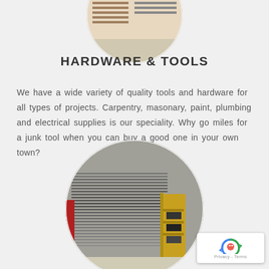[Figure (photo): Circular cropped photo of a hardware store interior showing shelves with tools and supplies]
HARDWARE & TOOLS
We have a wide variety of quality tools and hardware for all types of projects. Carpentry, masonary, paint, plumbing and electrical supplies is our speciality. Why go miles for a junk tool when you can buy a good one in your own town?
[Figure (photo): Circular cropped photo of a large hardware store aisle with rows of metal bin storage shelving units and yellow equipment]
[Figure (other): reCAPTCHA badge showing robot icon and Privacy - Terms text]